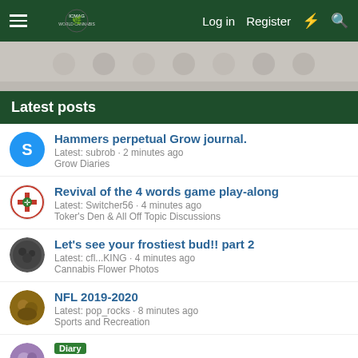IC MAG forum navigation bar with Log in, Register, and search icons
[Figure (screenshot): Social media icon strip banner]
Latest posts
Hammers perpetual Grow journal. Latest: subrob · 2 minutes ago Grow Diaries
Revival of the 4 words game play-along Latest: Switcher56 · 4 minutes ago Toker's Den & All Off Topic Discussions
Let's see your frostiest bud!! part 2 Latest: cfl...KING · 4 minutes ago Cannabis Flower Photos
NFL 2019-2020 Latest: pop_rocks · 8 minutes ago Sports and Recreation
Diary Indian Landrace Exchange: 2022 outdoor, 42 north Latest: Naindejardin · 13 minutes ago Grow Diaries